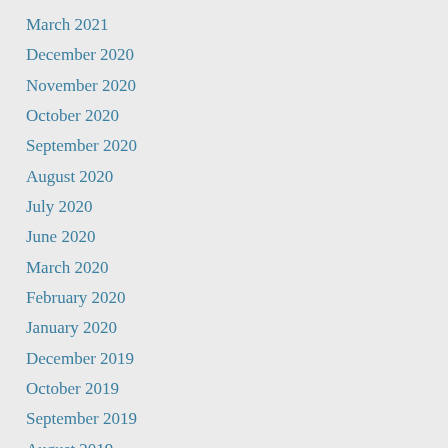March 2021
December 2020
November 2020
October 2020
September 2020
August 2020
July 2020
June 2020
March 2020
February 2020
January 2020
December 2019
October 2019
September 2019
August 2019
June 2019